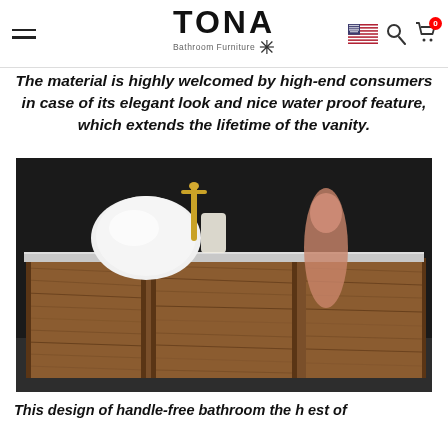TONA Bathroom Furniture — navigation header with hamburger menu, logo, US flag, search icon, cart icon (badge: 0)
The material is highly welcomed by high-end consumers in case of its elegant look and nice water proof feature, which extends the lifetime of the vanity.
[Figure (photo): A modern wall-mounted walnut wood bathroom vanity with three sliding panel doors in warm brown wood grain finish, topped with a white countertop and a round white vessel sink, with a gold faucet and a peach/beige vase in the background, set against a dark background.]
This design of handle-free bathroom the h est of